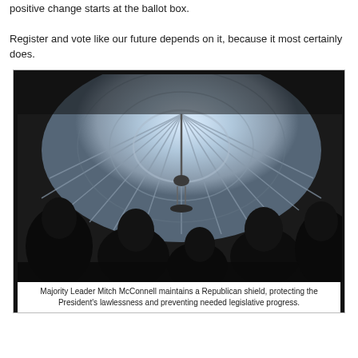positive change starts at the ballot box.

Register and vote like our future depends on it, because it most certainly does.
[Figure (photo): Several men in dark suits viewed from behind, looking up at an ornate domed ceiling with a chandelier in a government building, likely the US Capitol.]
Majority Leader Mitch McConnell maintains a Republican shield, protecting the President's lawlessness and preventing needed legislative progress.